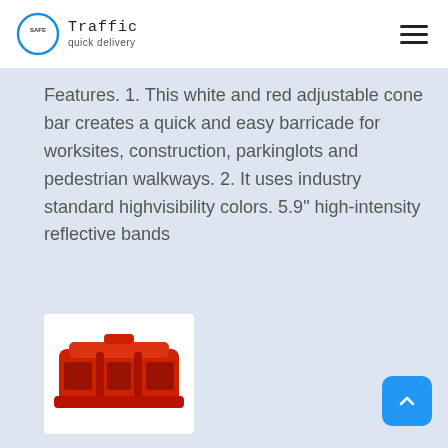Safe Traffic quick delivery
Features. 1. This white and red adjustable cone bar creates a quick and easy barricade for worksites, construction, parkinglots and pedestrian walkways. 2. It uses industry standard highvisibility colors. 5.9" high-intensity reflective bands
[Figure (photo): Red plastic road barrier/water-filled barrier product shown on white background in a product card]